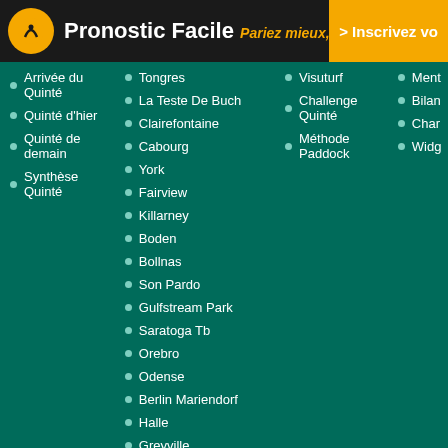Pronostic Facile — Pariez mieux, gagnez plus
Arrivée du Quinté
Quinté d'hier
Quinté de demain
Synthèse Quinté
Tongres
La Teste De Buch
Clairefontaine
Cabourg
York
Fairview
Killarney
Boden
Bollnas
Son Pardo
Gulfstream Park
Saratoga Tb
Orebro
Odense
Berlin Mariendorf
Halle
Greyville
Kilbeggan
Carlisle
Newbury
Salisbury
Newcastle
Visuturf
Challenge Quinté
Méthode Paddock
Ment...
Bilan...
Char...
Widg...